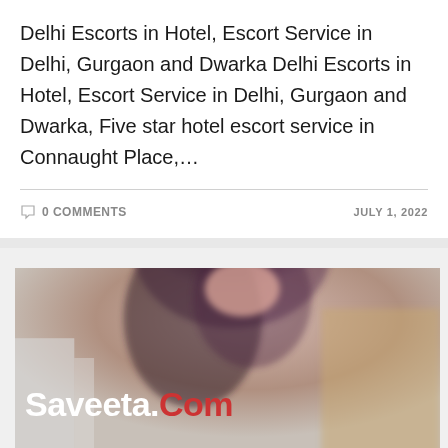Delhi Escorts in Hotel, Escort Service in Delhi, Gurgaon and Dwarka Delhi Escorts in Hotel, Escort Service in Delhi, Gurgaon and Dwarka, Five star hotel escort service in Connaught Place,…
0 COMMENTS
JULY 1, 2022
[Figure (photo): A blurred photo of a woman with dark hair, with the watermark text 'Saveeta.Com' overlaid in bold white and red text at the bottom left.]